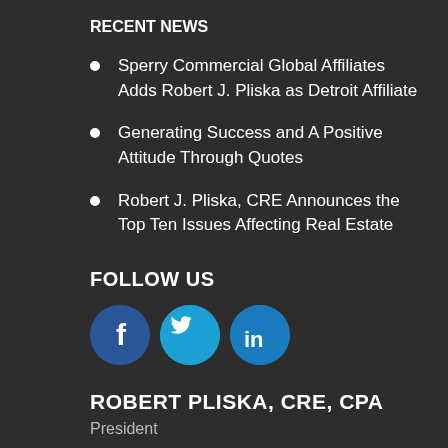RECENT NEWS
Sperry Commercial Global Affiliates Adds Robert J. Pliska as Detroit Affiliate
Generating Success and A Positive Attitude Through Quotes
Robert J. Pliska, CRE Announces the Top Ten Issues Affecting Real Estate
FOLLOW US
[Figure (infographic): Three social media icon buttons: Facebook (dark blue circle with 'f'), Twitter (light blue circle with bird icon), LinkedIn (blue circle with 'in')]
ROBERT PLISKA, CRE, CPA
President